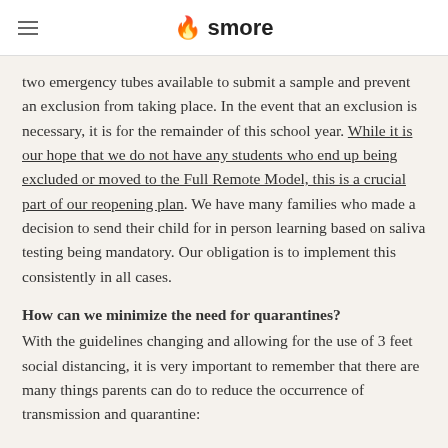smore
two emergency tubes available to submit a sample and prevent an exclusion from taking place. In the event that an exclusion is necessary, it is for the remainder of this school year. While it is our hope that we do not have any students who end up being excluded or moved to the Full Remote Model, this is a crucial part of our reopening plan. We have many families who made a decision to send their child for in person learning based on saliva testing being mandatory. Our obligation is to implement this consistently in all cases.
How can we minimize the need for quarantines?
With the guidelines changing and allowing for the use of 3 feet social distancing, it is very important to remember that there are many things parents can do to reduce the occurrence of transmission and quarantine: